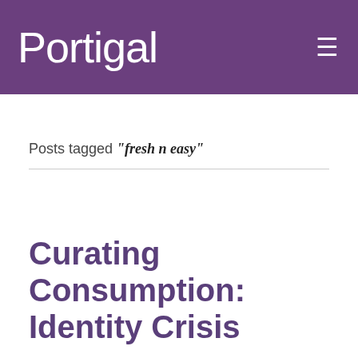Portigal
Posts tagged “fresh n easy”
Curating Consumption: Identity Crisis